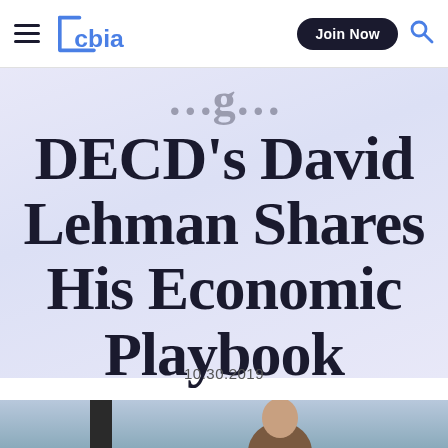cbia | Join Now
DECD's David Lehman Shares His Economic Playbook
10.30.2019
[Figure (photo): Bottom portion showing a person, partially cropped, with an outdoor background]